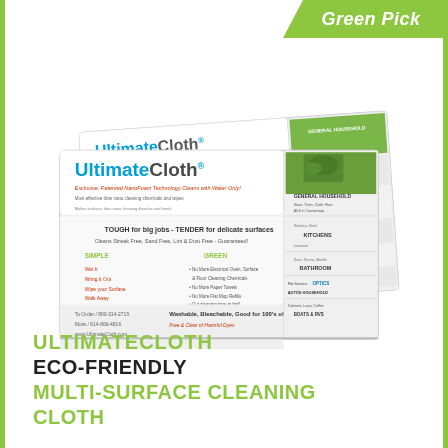Green Pick
[Figure (photo): Two UltimateCloth product packages shown overlapping. Each package is a clear plastic envelope containing a folded cleaning cloth. The front package shows the UltimateCloth logo and branding with text about NanoFoam Technology Cleans with Water Only, TOUGH for big jobs - TENDER for delicate surfaces, and usage instructions. A side panel shows various use categories including General Household, Kitchens, Bathroom, Optics, Autos, Boats & RVs with small photos.]
ULTIMATECLOTH ECO-FRIENDLY MULTI-SURFACE CLEANING CLOTH